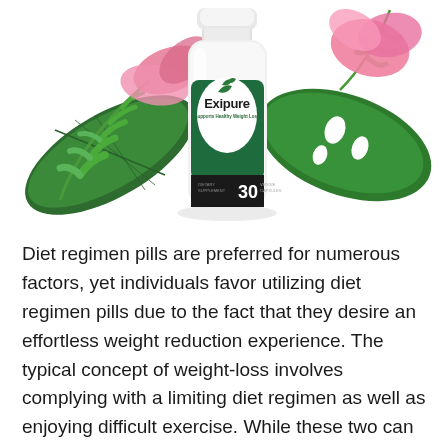[Figure (photo): Exipure dietary supplement bottle (30 capsules, supports healthy weight loss) surrounded by tropical green leaves and pink flowers on a white background.]
Diet regimen pills are preferred for numerous factors, yet individuals favor utilizing diet regimen pills due to the fact that they desire an effortless weight reduction experience. The typical concept of weight-loss involves complying with a limiting diet regimen as well as enjoying difficult exercise. While these two can help most of the times, there